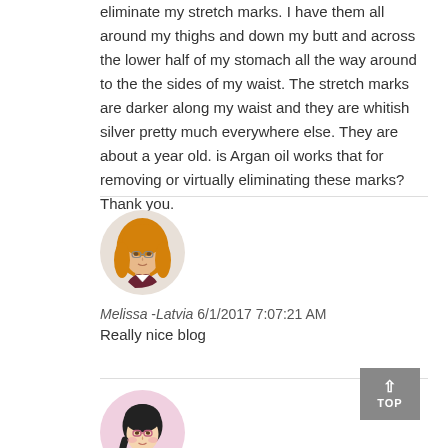eliminate my stretch marks. I have them all around my thighs and down my butt and across the lower half of my stomach all the way around to the the sides of my waist. The stretch marks are darker along my waist and they are whitish silver pretty much everywhere else. They are about a year old. is Argan oil works that for removing or virtually eliminating these marks? Thank you.
[Figure (illustration): Circular avatar illustration of a woman with long orange/blonde hair, wearing a dark top with white collar]
Melissa -Latvia 6/1/2017 7:07:21 AM
Really nice blog
[Figure (illustration): Circular avatar illustration of a woman with dark hair in a braid, wearing glasses, pink background]